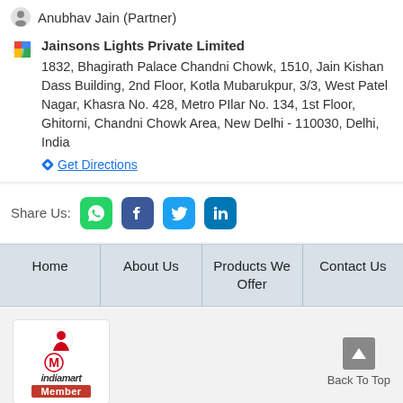Anubhav Jain (Partner)
Jainsons Lights Private Limited
1832, Bhagirath Palace Chandni Chowk, 1510, Jain Kishan Dass Building, 2nd Floor, Kotla Mubarukpur, 3/3, West Patel Nagar, Khasra No. 428, Metro PIlar No. 134, 1st Floor, Ghitorni, Chandni Chowk Area, New Delhi - 110030, Delhi, India
Get Directions
Share Us:
Home | About Us | Products We Offer | Contact Us
[Figure (logo): IndiaMart Member logo with red circular icon and red Member badge]
Back To Top